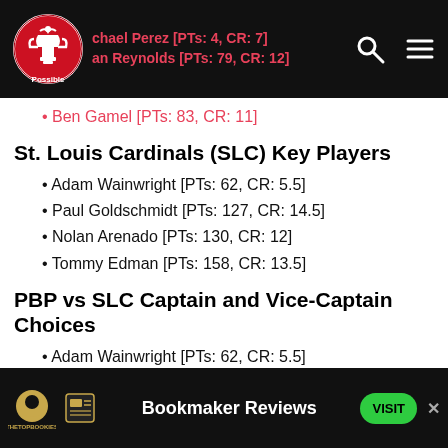Navigation bar with logo and icons
Michael Perez [PTs: 4, CR: 7] (truncated)
Bryan Reynolds [PTs: 79, CR: 12] (truncated)
Ben Gamel [PTs: 83, CR: 11]
St. Louis Cardinals (SLC) Key Players
Adam Wainwright [PTs: 62, CR: 5.5]
Paul Goldschmidt [PTs: 127, CR: 14.5]
Nolan Arenado [PTs: 130, CR: 12]
Tommy Edman [PTs: 158, CR: 13.5]
PBP vs SLC Captain and Vice-Captain Choices
Adam Wainwright [PTs: 62, CR: 5.5]
Bryan Reynolds [PTs: 79, CR: 12]
Ben Gamel [PTs: 83, CR: 11]
Paul Goldschmidt [PTs: 127, CR: 14.5] (partially visible)
Bookmaker Reviews — VISIT (advertisement)